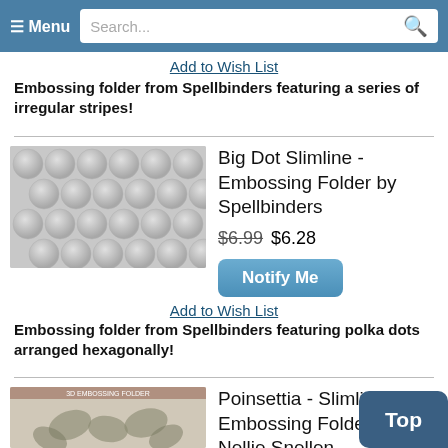Menu  Search...
Add to Wish List
Embossing folder from Spellbinders featuring a series of irregular stripes!
[Figure (photo): Product image of Big Dot Slimline Embossing Folder showing circles/polka dots arranged in hexagonal pattern, grey and white tones]
Big Dot Slimline - Embossing Folder by Spellbinders
$6.99 $6.28
Notify Me
Add to Wish List
Embossing folder from Spellbinders featuring polka dots arranged hexagonally!
[Figure (photo): Product image of Poinsettia Slimline 3D Embossing Folder by Nellie Snellen showing poinsettia leaf pattern]
Poinsettia - Slimline Embossing Folder by Nellie Snellen